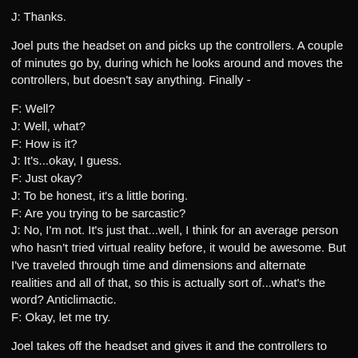J: Thanks.
Joel puts the headset on and picks up the controllers. A couple of minutes go by, during which he looks around and moves the controllers, but doesn't say anything. Finally -
F: Well?
J: Well, what?
F: How is it?
J: It's...okay, I guess.
F: Just okay?
J: To be honest, it's a little boring.
F: Are you trying to be sarcastic?
J: No, I'm not. It's just that...well, I think for an average person who hasn't tried virtual reality before, it would be awesome. But I've traveled through time and dimensions and alternate realities and all of that, so this is actually sort of...what's the word? Anticlimactic.
F: Okay, let me try.
Joel takes off the headset and gives it and the controllers to Felicity. She tries them out for a while.